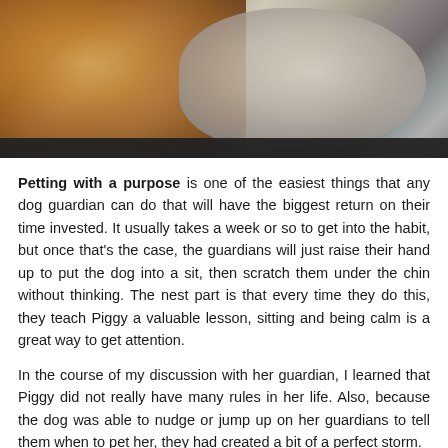[Figure (photo): Close-up photo of a bulldog-type dog, showing brown/tan ear on left and white/grey wrinkled face/snout on right, with a dark bar at the bottom of the image.]
Petting with a purpose is one of the easiest things that any dog guardian can do that will have the biggest return on their time invested. It usually takes a week or so to get into the habit, but once that's the case, the guardians will just raise their hand up to put the dog into a sit, then scratch them under the chin without thinking. The nest part is that every time they do this, they teach Piggy a valuable lesson, sitting and being calm is a great way to get attention.
In the course of my discussion with her guardian, I learned that Piggy did not really have many rules in her life. Also, because the dog was able to nudge or jump up on her guardians to tell them when to pet her, they had created a bit of a perfect storm.